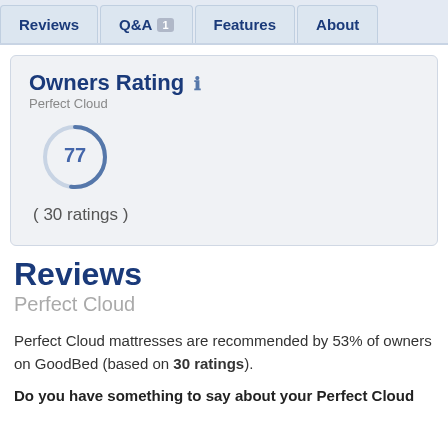Reviews | Q&A 1 | Features | About
Owners Rating ℹ
Perfect Cloud
[Figure (other): Circular score gauge showing score of 77]
( 30 ratings )
Reviews
Perfect Cloud
Perfect Cloud mattresses are recommended by 53% of owners on GoodBed (based on 30 ratings).
Do you have something to say about your Perfect Cloud